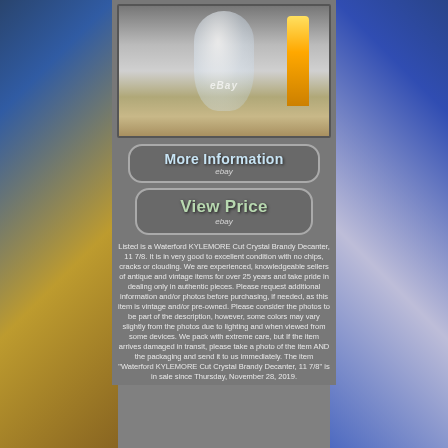[Figure (photo): Waterford crystal brandy decanter with yellow juice bottle in background, eBay listing photo]
[Figure (screenshot): eBay 'More Information' button with rounded rectangle border]
[Figure (screenshot): eBay 'View Price' button with rounded rectangle border]
Listed is a Waterford KYLEMORE Cut Crystal Brandy Decanter, 11 7/8. It is in very good to excellent condition with no chips, cracks or clouding. We are experienced, knowledgeable sellers of antique and vintage items for over 25 years and take pride in dealing only in authentic pieces. Please request additional information and/or photos before purchasing, if needed, as this item is vintage and/or pre-owned. Please consider the photos to be part of the description, however, some colors may vary slightly from the photos due to lighting and when viewed from some devices. We pack with extreme care, but If the item arrives damaged in transit, please take a photo of the item AND the packaging and send it to us immediately. The item "Waterford KYLEMORE Cut Crystal Brandy Decanter, 11 7/8" is in sale since Thursday, November 28, 2019.